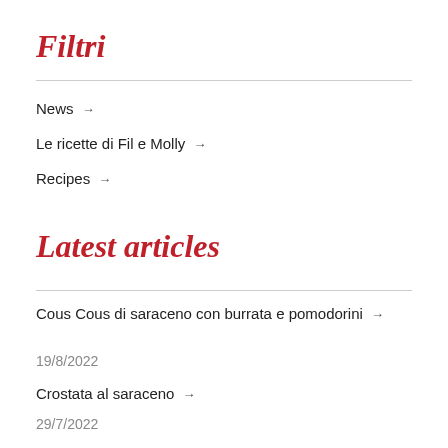Filtri
News →
Le ricette di Fil e Molly →
Recipes →
Latest articles
Cous Cous di saraceno con burrata e pomodorini →
19/8/2022
Crostata al saraceno →
29/7/2022